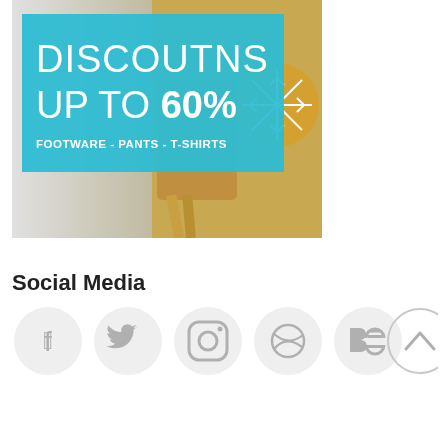[Figure (infographic): Promotional banner showing discounts up to 60% on footware, pants, and t-shirts over a background of golden accessories/sandals with a snowflake ornament. Teal/cyan semi-transparent overlay with white text.]
Social Media
[Figure (infographic): Row of five social media icon circles (Facebook, Twitter, Instagram, Dribbble, Behance) in light grey circles, and a scroll-to-top button circle on the right.]